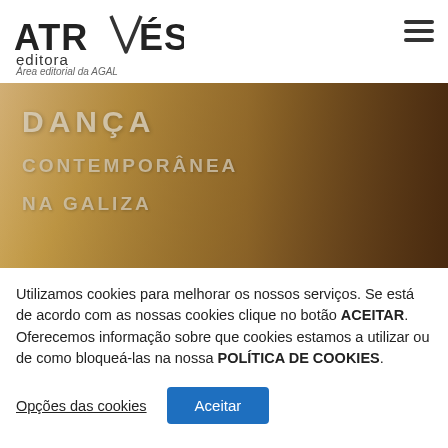ATRAVÉS editora — Área editorial da AGAL
[Figure (photo): Book cover image showing text 'DANÇA CONTEMPORÂNEA NA GALIZA' overlaid on a blurred background with a figure in warm brown/golden tones]
Utilizamos cookies para melhorar os nossos serviços. Se está de acordo com as nossas cookies clique no botão ACEITAR. Oferecemos informação sobre que cookies estamos a utilizar ou de como bloqueá-las na nossa POLÍTICA DE COOKIES.
Opções das cookies
Aceitar